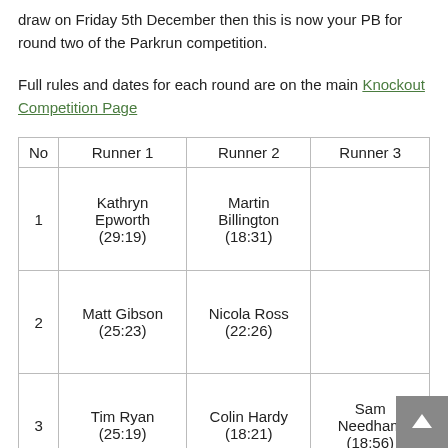draw on Friday 5th December then this is now your PB for round two of the Parkrun competition.
Full rules and dates for each round are on the main Knockout Competition Page
| No | Runner 1 | Runner 2 | Runner 3 |
| --- | --- | --- | --- |
| 1 | Kathryn Epworth (29:19) | Martin Billington (18:31) |  |
| 2 | Matt Gibson (25:23) | Nicola Ross (22:26) |  |
| 3 | Tim Ryan (25:19) | Colin Hardy (18:21) | Sam Needham (18:56) |